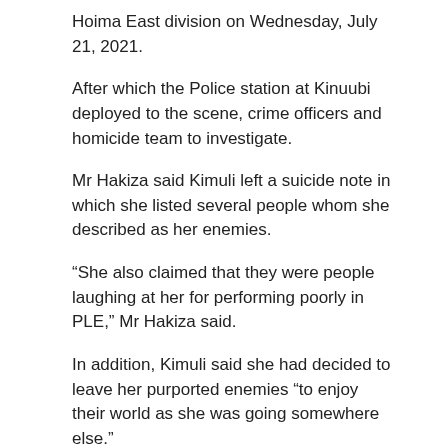Hoima East division on Wednesday, July 21, 2021.
After which the Police station at Kinuubi deployed to the scene, crime officers and homicide team to investigate.
Mr Hakiza said Kimuli left a suicide note in which she listed several people whom she described as her enemies.
“She also claimed that they were people laughing at her for performing poorly in PLE,” Mr Hakiza said.
In addition, Kimuli said she had decided to leave her purported enemies “to enjoy their world as she was going somewhere else.”
However, the deceased advised fellow children and relatives never to commit suicide, the Police said.